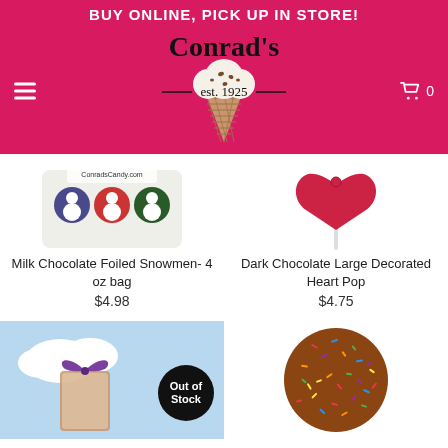BUY ONLINE, PICK UP IN STORE!
[Figure (logo): Conrad's est. 1925 logo with ice cream cone]
[Figure (photo): Milk Chocolate Foiled Snowmen 4 oz bag product image]
Milk Chocolate Foiled Snowmen- 4 oz bag
$4.98
[Figure (photo): Dark Chocolate Large Decorated Heart Pop product image]
Dark Chocolate Large Decorated Heart Pop
$4.75
[Figure (photo): Product with purple bow on blue background, Out of Stock badge]
[Figure (photo): Round chocolate disc with colorful sprinkles]